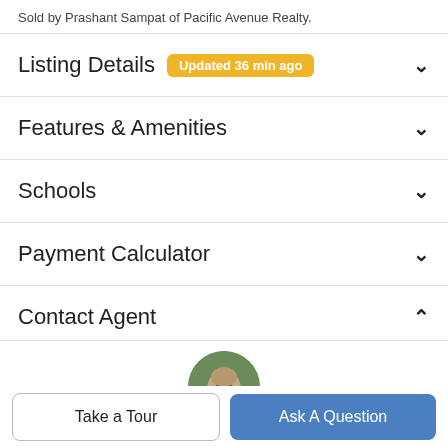Sold by Prashant Sampat of Pacific Avenue Realty.
Listing Details  Updated 36 min ago
Features & Amenities
Schools
Payment Calculator
Contact Agent
[Figure (photo): Circular profile photo of a bald man with a beard, outdoors with green background.]
Take a Tour
Ask A Question